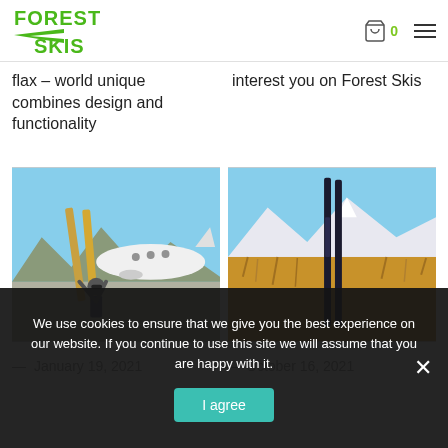Forest Skis — navigation header with logo, cart icon (0 items), and hamburger menu
flax – world unique combines design and functionality
interest you on Forest Skis
[Figure (photo): Person holding skis in front of a private jet on an airport tarmac, sunny day, mountains in background]
[Figure (photo): Two black skis standing upright in a field of tall dry grasses, mountains and blue sky in background]
— January 19, 2021
— October 16, 2021
We use cookies to ensure that we give you the best experience on our website. If you continue to use this site we will assume that you are happy with it.